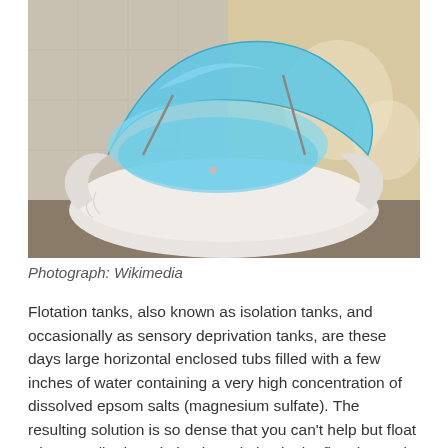[Figure (photo): A flotation tank (sensory deprivation pod) with a white rounded pod-shaped base and a large blue translucent lid opened upward, sitting on a tiled floor in a spa-like environment.]
Photograph: Wikimedia
Flotation tanks, also known as isolation tanks, and occasionally as sensory deprivation tanks, are these days large horizontal enclosed tubs filled with a few inches of water containing a very high concentration of dissolved epsom salts (magnesium sulfate). The resulting solution is so dense that you can't help but float when you lie down in it. The solution in the flotation tank is heated to body temperature, sanitized, and continuously filtered. The